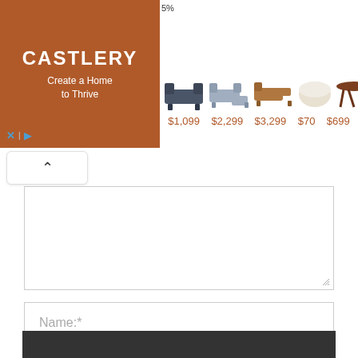[Figure (screenshot): Castlery advertisement banner showing logo with tagline 'Create a Home to Thrive' and product images with prices: $1,099, $2,299, $3,299, $70, $699]
[Figure (screenshot): Web form with collapse button (caret up), comment textarea, Name field, Email field, Website field, checkbox for saving info, and dark submit button at bottom]